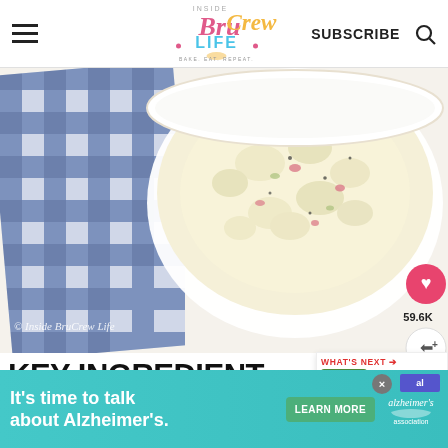Inside BruCrew Life — SUBSCRIBE
[Figure (photo): Overhead photo of a white bowl of creamy potato salad with red onion, celery, and black pepper, next to a blue and white gingham cloth napkin. Watermark reads '© Inside BruCrew Life'. Social sharing buttons (heart, 59.6K, share) on the right.]
KEY INGREDIENT
[Figure (infographic): WHAT'S NEXT panel showing '20 Picnic Salads' with a small thumbnail image of picnic salads]
Making potato salad all depends on your potatoes are
[Figure (screenshot): Advertisement banner: 'It's time to talk about Alzheimer's.' with a Learn More button and Alzheimer's Association logo, teal background]